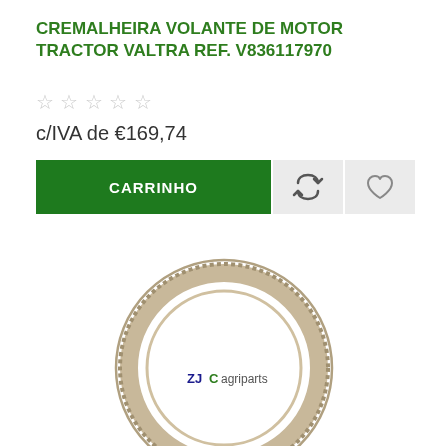CREMALHEIRA VOLANTE DE MOTOR TRACTOR VALTRA REF. V836117970
☆☆☆☆☆
c/IVA de €169,74
CARRINHO
[Figure (photo): Ring gear (cremalheira) for Valtra tractor flywheel, circular toothed metal ring, with ZJCagriparts logo visible in the center.]